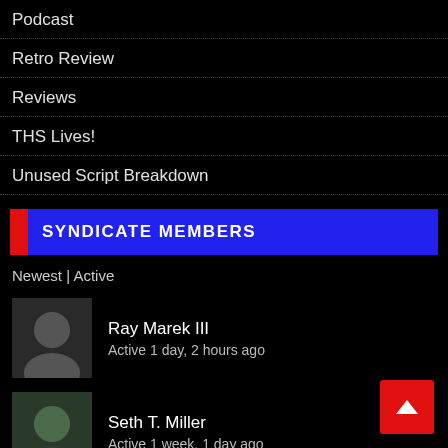Podcast
Retro Review
Reviews
THS Lives!
Unused Script Breakdown
SYNDICATE MEMBERS
Newest | Active
Ray Marek III
Active 1 day, 2 hours ago
Seth T. Miller
Active 1 week, 1 day ago
Morgan Jewel Sawan
Active 1 month, 2 weeks ago